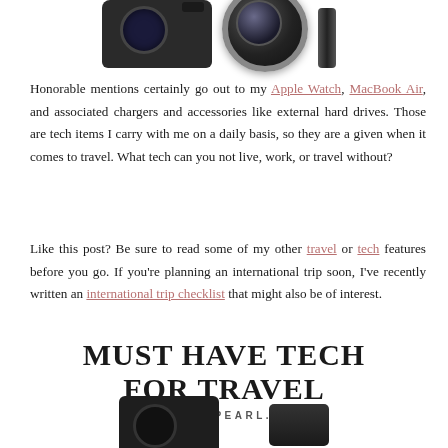[Figure (photo): Partial top view of camera body, lens, and slim device against white background]
Honorable mentions certainly go out to my Apple Watch, MacBook Air, and associated chargers and accessories like external hard drives. Those are tech items I carry with me on a daily basis, so they are a given when it comes to travel. What tech can you not live, work, or travel without?
Like this post? Be sure to read some of my other travel or tech features before you go. If you’re planning an international trip soon, I’ve recently written an international trip checklist that might also be of interest.
MUST HAVE TECH FOR TRAVEL
CHELSEAPEARL.COM
[Figure (photo): Partial bottom view of camera and accessory against white background]